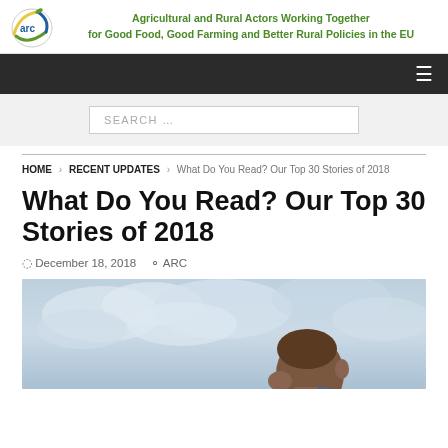Agricultural and Rural Actors Working Together for Good Food, Good Farming and Better Rural Policies in the EU
SEARCH …
HOME > RECENT UPDATES > What Do You Read? Our Top 30 Stories of 2018
What Do You Read? Our Top 30 Stories of 2018
December 18, 2018   ARC
[Figure (photo): Person looking upward against a cloudy sky background, viewed from behind/side showing the back of the head]